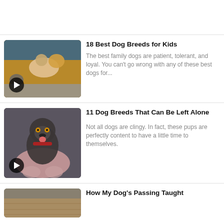[Figure (photo): Top bar placeholder area, white background]
[Figure (photo): Photo of two children lying on a couch with a yellow Labrador and a small pug dog]
18 Best Dog Breeds for Kids
The best family dogs are patient, tolerant, and loyal. You can't go wrong with any of these best dogs for...
[Figure (photo): Photo of a dark-colored merle dog sitting in a pink chair, smiling]
11 Dog Breeds That Can Be Left Alone
Not all dogs are clingy. In fact, these pups are perfectly content to have a little time to themselves.
[Figure (photo): Partial photo at the bottom, cut off]
How My Dog's Passing Taught